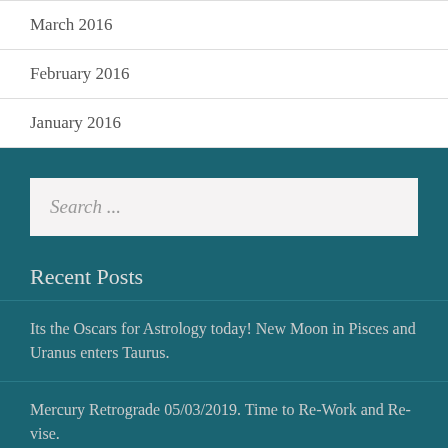March 2016
February 2016
January 2016
Search ...
Recent Posts
Its the Oscars for Astrology today! New Moon in Pisces and Uranus enters Taurus.
Mercury Retrograde 05/03/2019. Time to Re-Work and Revise.